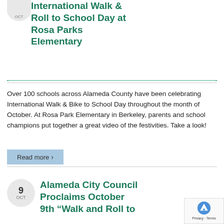International Walk & Roll to School Day at Rosa Parks Elementary
Over 100 schools across Alameda County have been celebrating International Walk & Bike to School Day throughout the month of October. At Rosa Park Elementary in Berkeley, parents and school champions put together a great video of the festivities. Take a look!
Read more
Alameda City Council Proclaims October 9th “Walk and Roll to